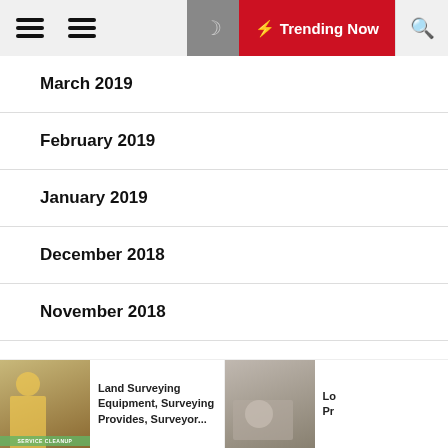Trending Now
March 2019
February 2019
January 2019
December 2018
November 2018
October 2018
September 2018
Land Surveying Equipment, Surveying Provides, Surveyor...